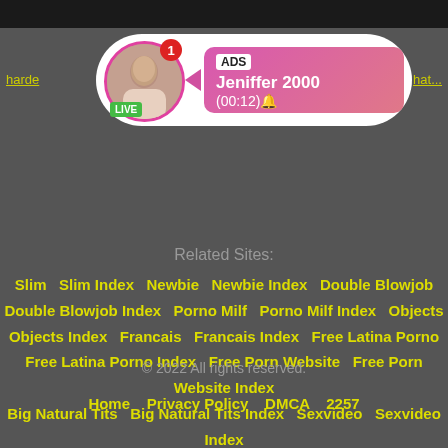[Figure (screenshot): Top dark bar with partial video thumbnail]
[Figure (infographic): Ad bubble with avatar, LIVE badge, ADS label, name Jeniffer 2000, time (00:12)]
harde...   ...hat...
Related Sites:
Slim   Slim Index   Newbie   Newbie Index   Double Blowjob   Double Blowjob Index   Porno Milf   Porno Milf Index   Objects   Objects Index   Francais   Francais Index   Free Latina Porno   Free Latina Porno Index   Free Porn Website   Free Porn Website Index   Big Natural Tits   Big Natural Tits Index   Sexvideo   Sexvideo Index
© 2022 All rights reserved.
Home   Privacy Policy   DMCA   2257